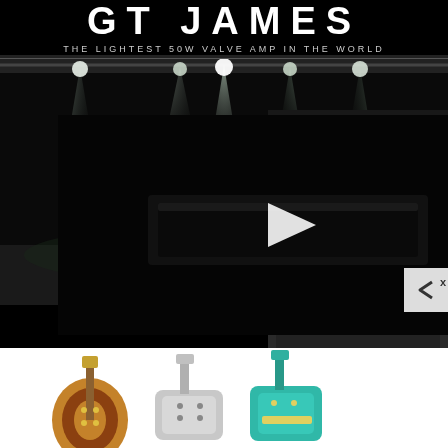GT JAMES
THE LIGHTEST 50W VALVE AMP IN THE WORLD
[Figure (photo): Concert stage with dramatic green/white spotlights from above, dark background]
[Figure (screenshot): Embedded video player showing a dark image of what appears to be an amplifier head, with a white play button triangle in the center]
[Figure (photo): Stack of audio amplifiers with tan/beige tolex covering and black grille, brand labels visible]
[Figure (infographic): Advertisement banner for Reverend guitars showing three electric guitars (sunburst, silver/white, and teal) alongside the Reverend logo (winged wheel emblem) and a SEE MORE button]